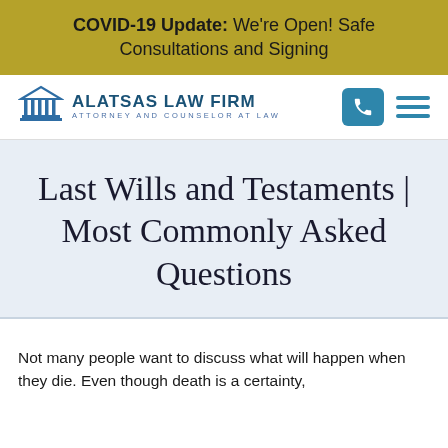COVID-19 Update: We're Open! Safe Consultations and Signing
[Figure (logo): Alatsas Law Firm logo with pillars icon, text: ALATSAS LAW FIRM / ATTORNEY AND COUNSELOR AT LAW]
Last Wills and Testaments | Most Commonly Asked Questions
Not many people want to discuss what will happen when they die. Even though death is a certainty,